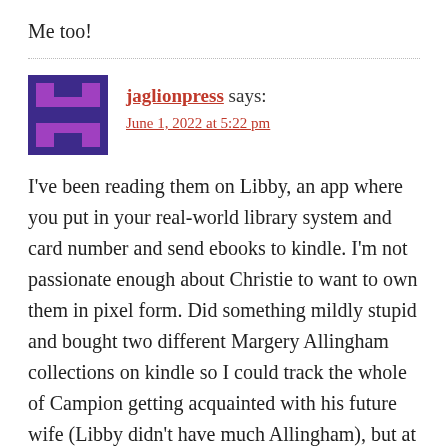Me too!
jaglionpress says:
June 1, 2022 at 5:22 pm
I've been reading them on Libby, an app where you put in your real-world library system and card number and send ebooks to kindle. I'm not passionate enough about Christie to want to own them in pixel form. Did something mildly stupid and bought two different Margery Allingham collections on kindle so I could track the whole of Campion getting acquainted with his future wife (Libby didn't have much Allingham), but at least that's 3